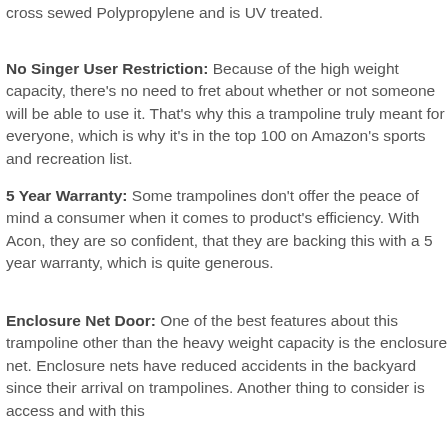cross sewed Polypropylene and is UV treated.
No Singer User Restriction: Because of the high weight capacity, there's no need to fret about whether or not someone will be able to use it. That's why this a trampoline truly meant for everyone, which is why it's in the top 100 on Amazon's sports and recreation list.
5 Year Warranty: Some trampolines don't offer the peace of mind a consumer when it comes to product's efficiency. With Acon, they are so confident, that they are backing this with a 5 year warranty, which is quite generous.
Enclosure Net Door: One of the best features about this trampoline other than the heavy weight capacity is the enclosure net. Enclosure nets have reduced accidents in the backyard since their arrival on trampolines. Another thing to consider is access and with this